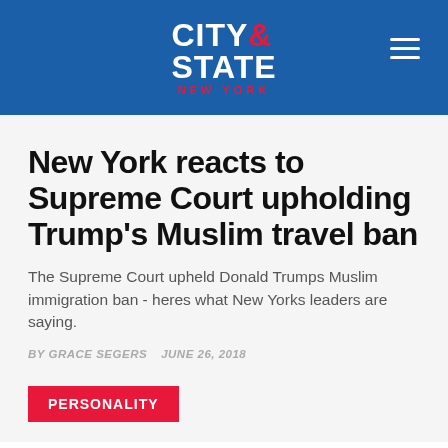CITY & STATE NEW YORK
New York reacts to Supreme Court upholding Trump’s Muslim travel ban
The Supreme Court upheld Donald Trumps Muslim immigration ban - heres what New Yorks leaders are saying.
BY GRACE SEGERS   JUNE 26, 2018
PERSONALITY